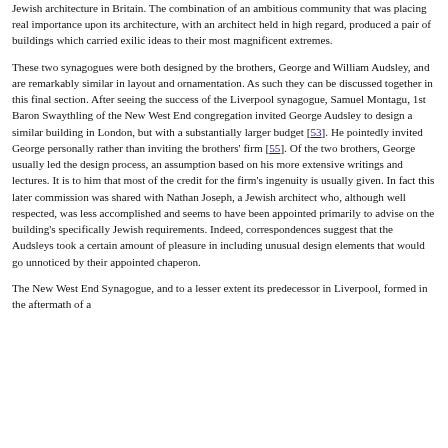Jewish architecture in Britain. The combination of an ambitious community that was placing real importance upon its architecture, with an architect held in high regard, produced a pair of buildings which carried exilic ideas to their most magnificent extremes.
These two synagogues were both designed by the brothers, George and William Audsley, and are remarkably similar in layout and ornamentation. As such they can be discussed together in this final section. After seeing the success of the Liverpool synagogue, Samuel Montagu, 1st Baron Swaythling of the New West End congregation invited George Audsley to design a similar building in London, but with a substantially larger budget [53]. He pointedly invited George personally rather than inviting the brothers' firm [55]. Of the two brothers, George usually led the design process, an assumption based on his more extensive writings and lectures. It is to him that most of the credit for the firm's ingenuity is usually given. In fact this later commission was shared with Nathan Joseph, a Jewish architect who, although well respected, was less accomplished and seems to have been appointed primarily to advise on the building's specifically Jewish requirements. Indeed, correspondences suggest that the Audsleys took a certain amount of pleasure in including unusual design elements that would go unnoticed by their appointed chaperon.
The New West End Synagogue, and to a lesser extent its predecessor in Liverpool, formed in the aftermath of a...